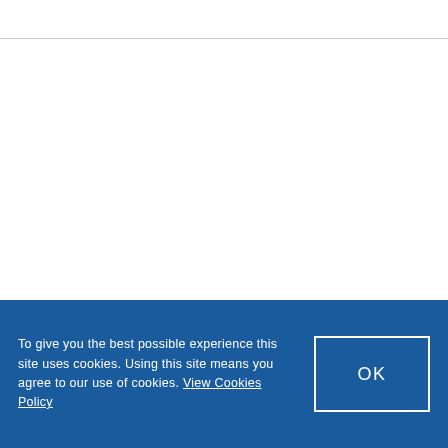To give you the best possible experience this site uses cookies. Using this site means you agree to our use of cookies. View Cookies Policy